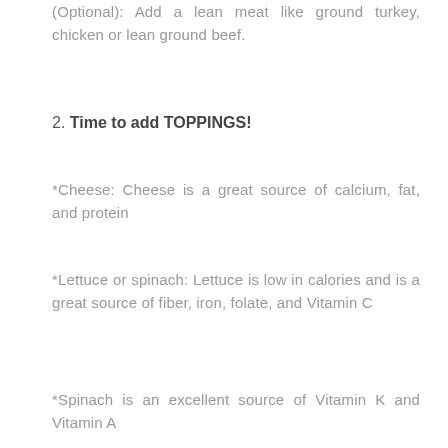(Optional): Add a lean meat like ground turkey, chicken or lean ground beef.
2. Time to add TOPPINGS!
*Cheese: Cheese is a great source of calcium, fat, and protein
*Lettuce or spinach: Lettuce is low in calories and is a great source of fiber, iron, folate, and Vitamin C
*Spinach is an excellent source of Vitamin K and Vitamin A